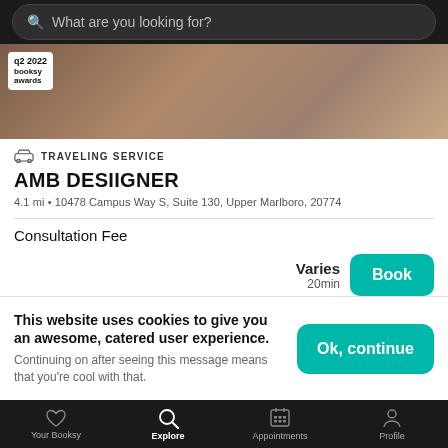[Figure (screenshot): Search bar with dark background and rounded rectangle search field showing placeholder text 'What are you looking for?']
[Figure (photo): Partial photo of a person with a Q2 2022 booksy awards badge overlay in top left]
TRAVELING SERVICE
AMB DESIIGNER
4.1 mi • 10478 Campus Way S, Suite 130, Upper Marlboro, 20774
Consultation Fee
Varies
20min
This website uses cookies to give you an awesome, catered user experience. Continuing on after seeing this message means that you're cool with that.
Your Booksy   Explore   Appointments   Profile